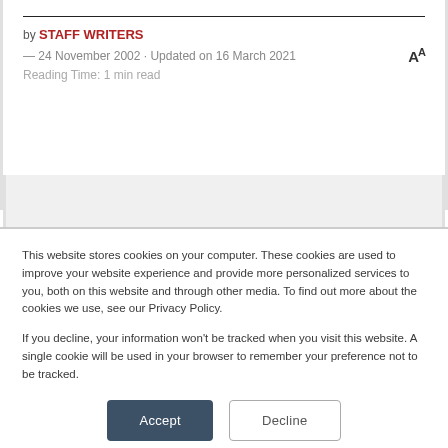by STAFF WRITERS
— 24 November 2002 · Updated on 16 March 2021
Reading Time: 1 min read
This website stores cookies on your computer. These cookies are used to improve your website experience and provide more personalized services to you, both on this website and through other media. To find out more about the cookies we use, see our Privacy Policy.
If you decline, your information won't be tracked when you visit this website. A single cookie will be used in your browser to remember your preference not to be tracked.